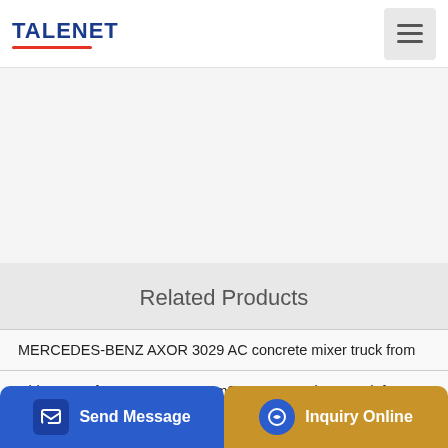TALENET
[Figure (other): White/light banner area, likely an advertisement or hero image placeholder]
Related Products
MERCEDES-BENZ AXOR 3029 AC concrete mixer truck from
China Dongfeng 8m3 10m3 12m3 Concrete Mixer Truck for Sale
Top 10 Chinese Best Asphalt...
Send Message | Inquiry Online